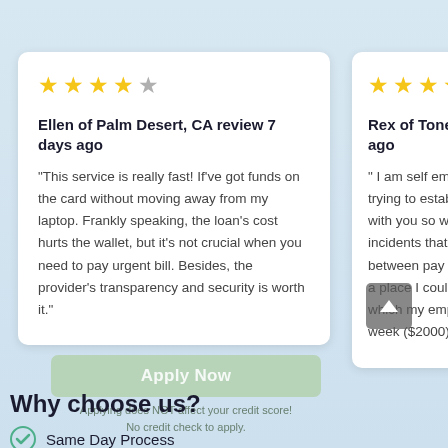Ellen of Palm Desert, CA review 7 days ago — 4/5 stars — "This service is really fast! If've got funds on the card without moving away from my laptop. Frankly speaking, the loan's cost hurts the wallet, but it's not crucial when you need to pay urgent bill. Besides, the provider's transparency and security is worth it."
Rex of Toney, AL review [X] ago — 4/5 stars — " I am self employed trying to establish a [relationship] with you so when th[ere are] incidents that actual[ly fall] between pay period[s I had] a place I could go t[o] which my employee[ gets paid] week ($2000). I wen[t...]
Apply Now
Applying does NOT affect your credit score!
No credit check to apply.
Why choose us?
Same Day Process